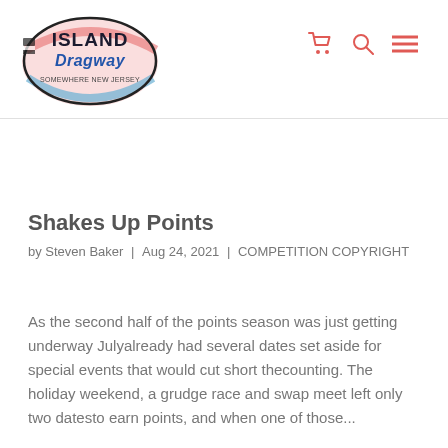[Figure (logo): Island Dragway logo — circular emblem with pink/salmon swoosh and stylized text reading 'Island Dragway']
Shakes Up Points
by Steven Baker | Aug 24, 2021 | COMPETITION COPYRIGHT
As the second half of the points season was just getting underway Julyalready had several dates set aside for special events that would cut short thecounting. The holiday weekend, a grudge race and swap meet left only two datesto earn points, and when one of those...